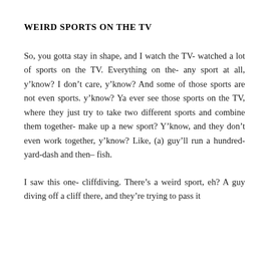WEIRD SPORTS ON THE TV
So, you gotta stay in shape, and I watch the TV- watched a lot of sports on the TV. Everything on the- any sport at all, y’know? I don’t care, y’know? And some of those sports are not even sports. y’know? Ya ever see those sports on the TV, where they just try to take two different sports and combine them together- make up a new sport? Y’know, and they don’t even work together, y’know? Like, (a) guy’ll run a hundred- yard-dash and then– fish.
I saw this one- cliffdiving. There’s a weird sport, eh? A guy diving off a cliff there, and they’re trying to pass it